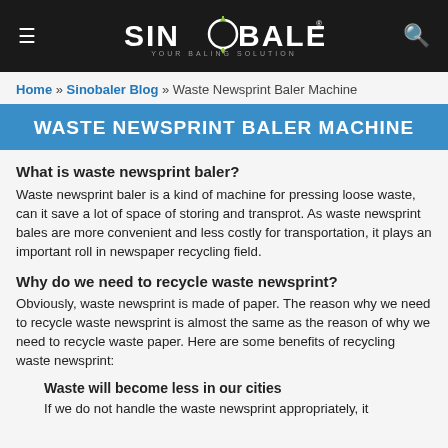SINOBALER YOUR BALING SOLUTION
Home » Sinobaler Blog » Waste Newsprint Baler Machine
WASTE NEWSPRINT BALER MACHINE
What is waste newsprint baler?
Waste newsprint baler is a kind of machine for pressing loose waste, can it save a lot of space of storing and transprot. As waste newsprint bales are more convenient and less costly for transportation, it plays an important roll in newspaper recycling field.
Why do we need to recycle waste newsprint?
Obviously, waste newsprint is made of paper. The reason why we need to recycle waste newsprint is almost the same as the reason of why we need to recycle waste paper. Here are some benefits of recycling waste newsprint:
Waste will become less in our cities
If we do not handle the waste newsprint appropriately, it